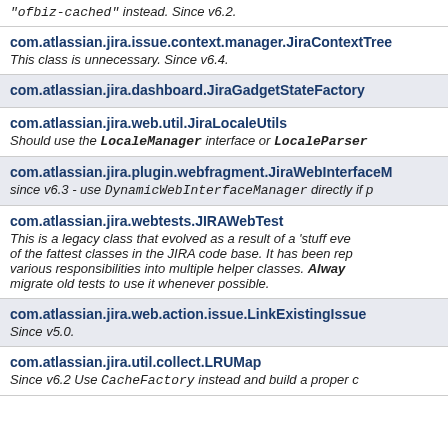"ofbiz-cached" instead. Since v6.2.
com.atlassian.jira.issue.context.manager.JiraContextTree
This class is unnecessary. Since v6.4.
com.atlassian.jira.dashboard.JiraGadgetStateFactory
com.atlassian.jira.web.util.JiraLocaleUtils
Should use the LocaleManager interface or LocaleParser
com.atlassian.jira.plugin.webfragment.JiraWebInterfaceM...
since v6.3 - use DynamicWebInterfaceManager directly if p
com.atlassian.jira.webtests.JIRAWebTest
This is a legacy class that evolved as a result of a 'stuff everything' approach and was one of the fattest classes in the JIRA code base. It has been replaced by splitting its various responsibilities into multiple helper classes. Always use the new class and migrate old tests to use it whenever possible.
com.atlassian.jira.web.action.issue.LinkExistingIssue
Since v5.0.
com.atlassian.jira.util.collect.LRUMap
Since v6.2 Use CacheFactory instead and build a proper c